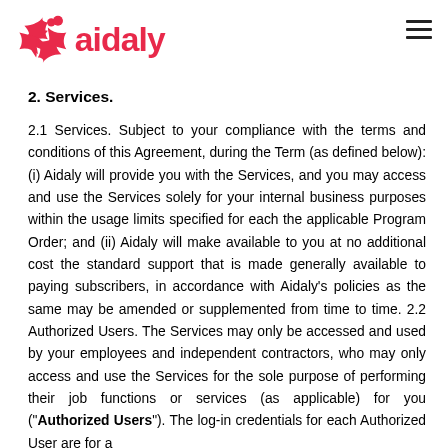[Figure (logo): Aidaly logo: red/pink asterisk-like icon followed by red 'aidaly' wordmark]
2. Services.
2.1 Services. Subject to your compliance with the terms and conditions of this Agreement, during the Term (as defined below): (i) Aidaly will provide you with the Services, and you may access and use the Services solely for your internal business purposes within the usage limits specified for each the applicable Program Order; and (ii) Aidaly will make available to you at no additional cost the standard support that is made generally available to paying subscribers, in accordance with Aidaly's policies as the same may be amended or supplemented from time to time. 2.2 Authorized Users. The Services may only be accessed and used by your employees and independent contractors, who may only access and use the Services for the sole purpose of performing their job functions or services (as applicable) for you (“Authorized Users”). The log-in credentials for each Authorized User are for a single individual and may not be shared or used by more than one